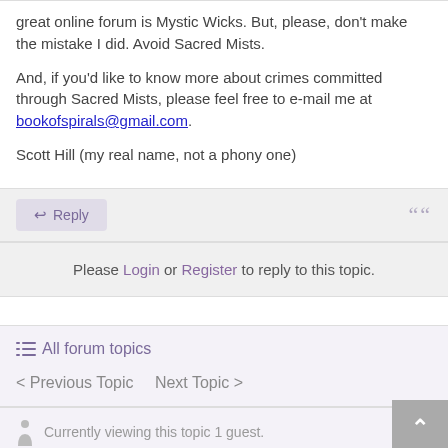great online forum is Mystic Wicks. But, please, don't make the mistake I did. Avoid Sacred Mists.
And, if you'd like to know more about crimes committed through Sacred Mists, please feel free to e-mail me at bookofspirals@gmail.com.
Scott Hill (my real name, not a phony one)
Reply
Please Login or Register to reply to this topic.
All forum topics
< Previous Topic   Next Topic >
Currently viewing this topic 1 guest.